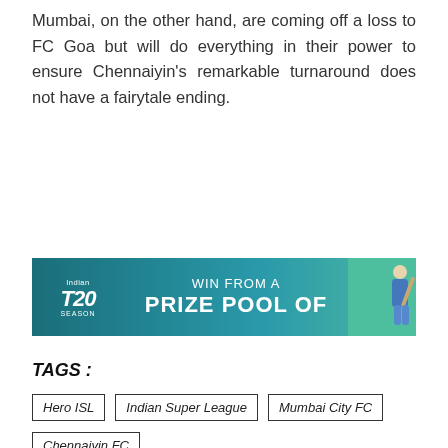Mumbai, on the other hand, are coming off a loss to FC Goa but will do everything in their power to ensure Chennaiyin's remarkable turnaround does not have a fairytale ending.
[Figure (infographic): Indian T20 Season advertisement banner: 'WIN FROM A PRIZE POOL OF' with a cricketer silhouette on the right]
TAGS :
Hero ISL
Indian Super League
Mumbai City FC
Chennaiyin FC
[Figure (photo): Facebook logo banner with a football/soccer player in action on blue background]